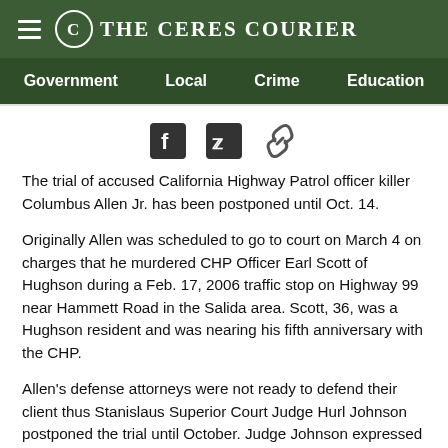The Ceres Courier
Government  Local  Crime  Education
[Figure (infographic): Social share icons: Facebook, Twitter, and link/chain icon]
The trial of accused California Highway Patrol officer killer Columbus Allen Jr. has been postponed until Oct. 14.
Originally Allen was scheduled to go to court on March 4 on charges that he murdered CHP Officer Earl Scott of Hughson during a Feb. 17, 2006 traffic stop on Highway 99 near Hammett Road in the Salida area. Scott, 36, was a Hughson resident and was nearing his fifth anniversary with the CHP.
Allen's defense attorneys were not ready to defend their client thus Stanislaus Superior Court Judge Hurl Johnson postponed the trial until October. Judge Johnson expressed disappointment in